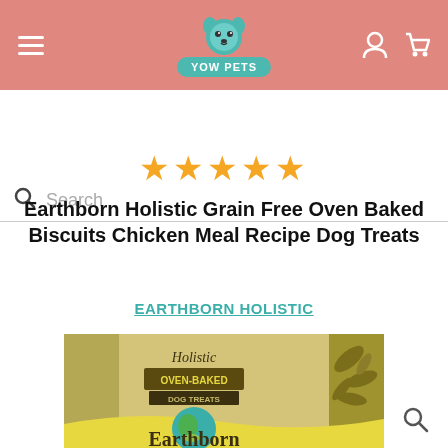[Figure (screenshot): E-commerce website header with salmon/pink background, hamburger menu on left, 'Yow Pets' logo with teal dog and bone in center, user and cart icons on right]
[Figure (screenshot): Search bar with magnifying glass icon and 'Search' placeholder text, with horizontal divider line below]
★★★★★
Earthborn Holistic Grain Free Oven Baked Biscuits Chicken Meal Recipe Dog Treats
EARTHBORN HOLISTIC
[Figure (photo): Product package for Earthborn Holistic Oven-Baked Dog Treats showing olive/gold packaging with leaf designs, globe logo, and 'Earthborn' text at bottom]